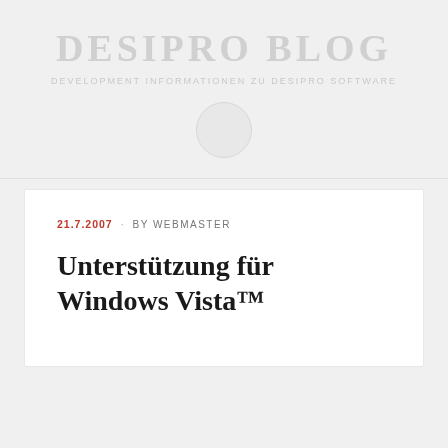DESIPRO BLOG
DEVELOPMENT INFORMATIONEN ZU DESIPRO SOFTWARE
21.7.2007 · BY WEBMASTER
Unterstützung für Windows Vista™